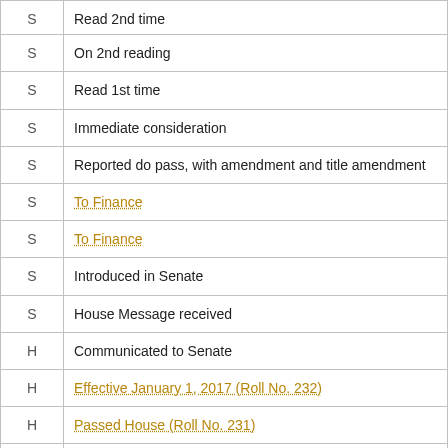| Chamber | Action |
| --- | --- |
| S | Read 2nd time |
| S | On 2nd reading |
| S | Read 1st time |
| S | Immediate consideration |
| S | Reported do pass, with amendment and title amendment |
| S | To Finance |
| S | To Finance |
| S | Introduced in Senate |
| S | House Message received |
| H | Communicated to Senate |
| H | Effective January 1, 2017 (Roll No. 232) |
| H | Passed House (Roll No. 231) |
| H | Read 3rd time |
| H | On 3rd reading, Special Calendar |
| H | Read 2nd time |